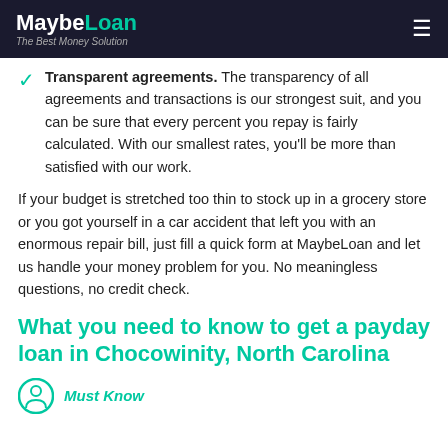MaybeLoan – The Best Money Solution
Transparent agreements. The transparency of all agreements and transactions is our strongest suit, and you can be sure that every percent you repay is fairly calculated. With our smallest rates, you'll be more than satisfied with our work.
If your budget is stretched too thin to stock up in a grocery store or you got yourself in a car accident that left you with an enormous repair bill, just fill a quick form at MaybeLoan and let us handle your money problem for you. No meaningless questions, no credit check.
What you need to know to get a payday loan in Chocowinity, North Carolina
Must Know